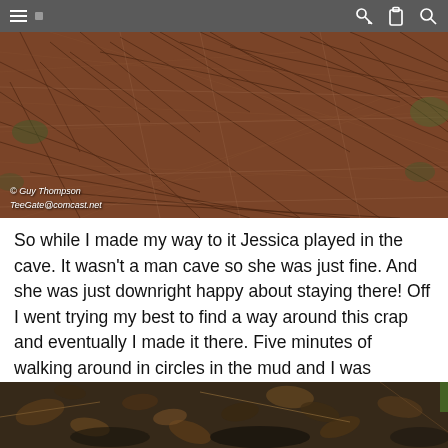Navigation bar with hamburger menu, dot, key icon, clipboard icon, search icon
[Figure (photo): Dense thicket of bare brown branches and twigs filling the frame, with sparse green foliage visible at edges. Photo credit: © Guy Thompson / TeeGate@comcast.net]
So while I made my way to it Jessica played in the cave. It wasn't a man cave so she was just fine. And she was just downright happy about staying there! Off I went trying my best to find a way around this crap and eventually I made it there. Five minutes of walking around in circles in the mud and I was rewarded with this. Not a great one but still what I was after.
[Figure (photo): Close-up ground-level photo showing wet fallen leaves, mud, dark debris, and a few twigs on the forest floor.]